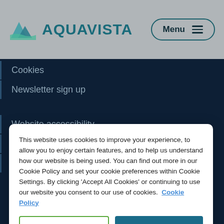[Figure (logo): Aquavista logo with teal mountain/wave graphic and AQUAVISTA text, plus Menu button with hamburger icon]
Cookies
Newsletter sign up
Website accessibility
Privacy policy
Website terms of use
This website uses cookies to improve your experience, to allow you to enjoy certain features, and to help us understand how our website is being used. You can find out more in our Cookie Policy and set your cookie preferences within Cookie Settings. By clicking 'Accept All Cookies' or continuing to use our website you consent to our use of cookies. Cookie Policy
Manage Cookies | Accept All Cookies